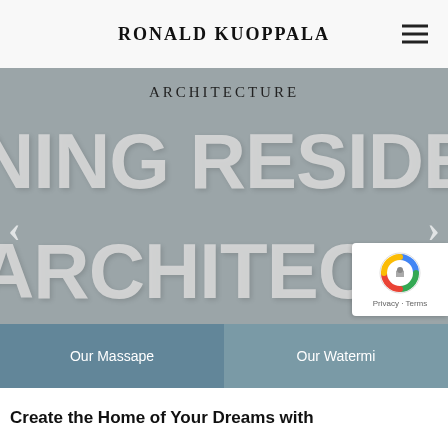RONALD KUOPPALA
[Figure (screenshot): Website hero slider section with large grey background, oversized text reading 'NING RESIDE' and 'ARCHITECTU' partially cropped, left and right navigation arrows, and two tab buttons at the bottom reading 'Our Massape' and 'Our Watermi']
ARCHITECTURE
NING RESIDE ARCHITECTU
Our Massape Our Watermi
Create the Home of Your Dreams with